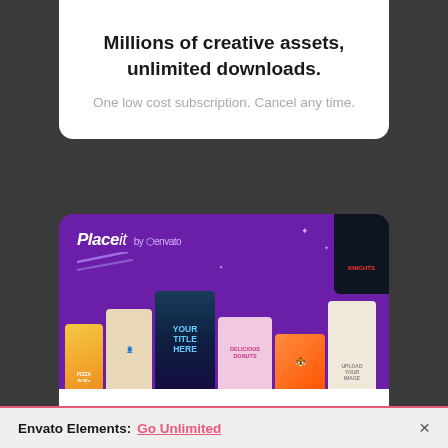[Figure (screenshot): Top portion of a website card with blue-purple gradient image and thumbnail at top right]
Millions of creative assets, unlimited downloads.
One low cost subscription. Cancel any time.
[Figure (screenshot): Placeit by Envato banner with purple background showing various design mockup thumbnails including pizza, person, title template, donuts logo, animal art, woman in sunglasses, and Knights badge]
Effortless design and video
Envato Elements: Go Unlimited ×